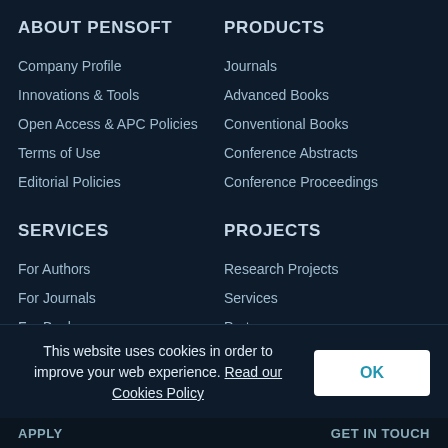ABOUT PENSOFT
Company Profile
Innovations & Tools
Open Access & APC Policies
Terms of Use
Editorial Policies
PRODUCTS
Journals
Advanced Books
Conventional Books
Conference Abstracts
Conference Proceedings
SERVICES
For Authors
For Journals
For Books
For Conferences
For Organisations
PROJECTS
Research Projects
Services
Partners
This website uses cookies in order to improve your web experience. Read our Cookies Policy
APPLY   GET IN TOUCH